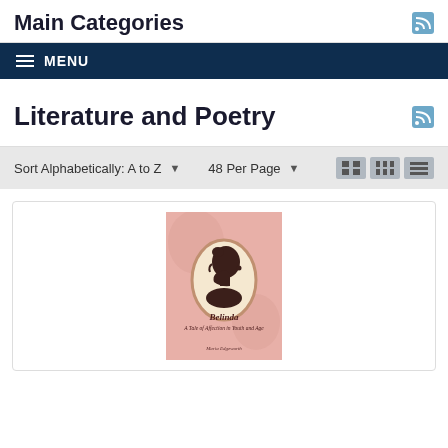Main Categories
MENU
Literature and Poetry
Sort Alphabetically: A to Z   48 Per Page
[Figure (illustration): Book cover for 'Belinda: A Tale of Affection in Youth and Age' on pink background with a cameo silhouette of a woman's profile in dark brown]